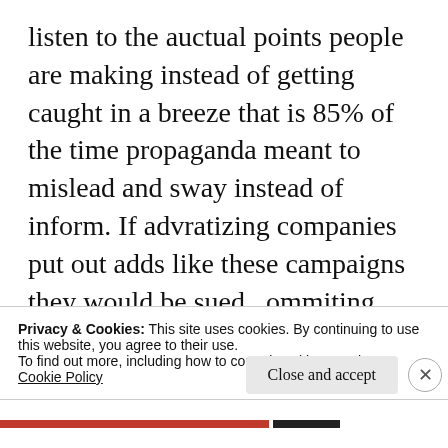listen to the auctual points people are making instead of getting caught in a breeze that is 85% of the time propaganda meant to mislead and sway instead of inform. If advratizing companies put out adds like these campaigns they would be sued.. ommiting facts with the intention of misleading is lieing .. manipulating the words specificly to make them seem like they are saying something they are not is lieing as well
Privacy & Cookies: This site uses cookies. By continuing to use this website, you agree to their use.
To find out more, including how to control cookies, see here: Cookie Policy
Close and accept